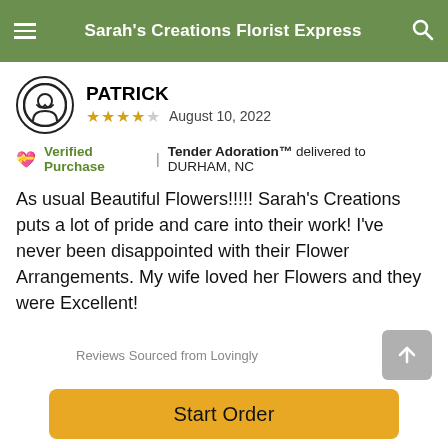Sarah's Creations Florist Express
PATRICK
★★★★☆ August 10, 2022
💝 Verified Purchase | Tender Adoration™ delivered to DURHAM, NC
As usual Beautiful Flowers!!!!! Sarah's Creations puts a lot of pride and care into their work! I've never been disappointed with their Flower Arrangements. My wife loved her Flowers and they were Excellent!
Reviews Sourced from Lovingly
You May Also Like
Start Order